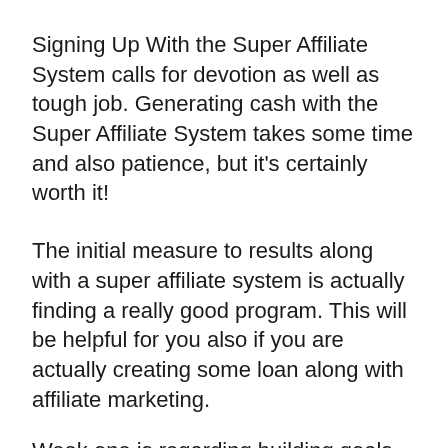Signing Up With the Super Affiliate System calls for devotion as well as tough job. Generating cash with the Super Affiliate System takes some time and also patience, but it's certainly worth it!
The initial measure to results along with a super affiliate system is actually finding a really good program. This will be helpful for you also if you are actually creating some loan along with affiliate marketing.
Week one is regarding building goals for your service. John is going to speak why it is a really good suggestion to set up a marketing website. He speaks about domain titles.